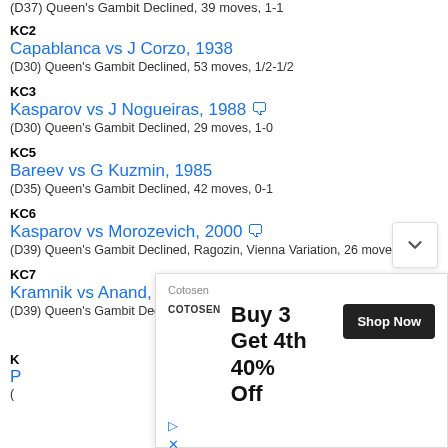(D37) Queen's Gambit Declined, 39 moves, 1-1
KC2
Capablanca vs J Corzo, 1938
(D30) Queen's Gambit Declined, 53 moves, 1/2-1/2
KC3
Kasparov vs J Nogueiras, 1988
(D30) Queen's Gambit Declined, 29 moves, 1-0
KC5
Bareev vs G Kuzmin, 1985
(D35) Queen's Gambit Declined, 42 moves, 0-1
KC6
Kasparov vs Morozevich, 2000
(D39) Queen's Gambit Declined, Ragozin, Vienna Variation, 26 moves, 1/2-1
KC7
Kramnik vs Anand, 2003
(D39) Queen's Gambit Declined, Ragozin, Vienna Variation, 21 moves, 1/2-1
[Figure (other): Advertisement overlay: Cotosen - Buy 3 Get 4th 40% Off with Shop Now button]
[Figure (other): Chevron/down arrow navigation button]